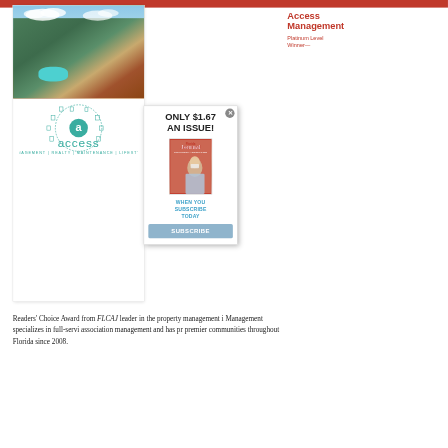[Figure (photo): Aerial photograph of a Florida residential community with pool, surrounded by palm trees and tropical vegetation, with houses and roads visible]
[Figure (logo): Access Management logo with circular icon showing the letter 'a' and building/property icons arranged in a circle, with text 'access' and tagline 'MANAGEMENT | REALTY | MAINTENANCE | LIFESTYLE']
Access Management
Platinum Level Winner—
[Figure (screenshot): Popup advertisement showing 'ONLY $1.67 AN ISSUE!' with a magazine cover image of the Florida Community Association Journal, and a 'SUBSCRIBE' button. Text reads 'WHEN YOU SUBSCRIBE TODAY']
Readers' Choice Award from FLCAJ leader in the property management i Management specializes in full-servi association management and has pr premier communities throughout Florida since 2008.